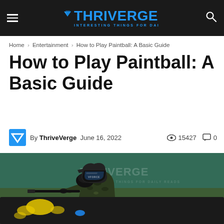THRIVERGE — INTERESTING THINGS FOR DAILY READS
Home › Entertainment › How to Play Paintball: A Basic Guide
How to Play Paintball: A Basic Guide
By ThriveVerge  June 16, 2022  👁 15427  💬 0
[Figure (photo): A paintball player in full camouflage gear and protective mask, crouching behind a barrier and aiming a paintball gun. Paint splatters visible on the barrier. ThriveVerge watermark in background.]